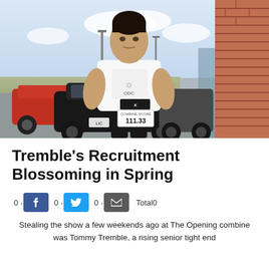[Figure (photo): Young muscular male athlete wearing a white Nike sleeveless shirt with a football helmet graphic and 'ODC' text, standing in a parking lot with cars and a brick building in the background. He holds a score card showing 111.33.]
Tremble's Recruitment Blossoming in Spring
0 > f 0 > [twitter] 0 > [email] Total0
Stealing the show a few weekends ago at The Opening combine was Tommy Tremble, a rising senior tight end